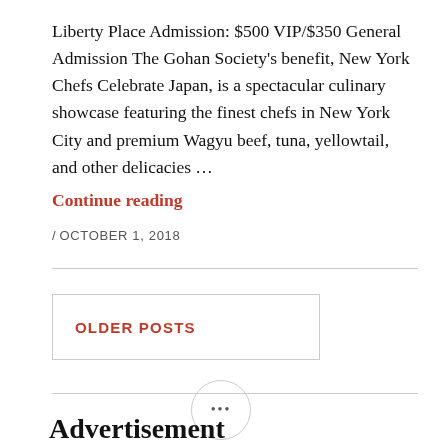Liberty Place Admission: $500 VIP/$350 General Admission The Gohan Society's benefit, New York Chefs Celebrate Japan, is a spectacular culinary showcase featuring the finest chefs in New York City and premium Wagyu beef, tuna, yellowtail, and other delicacies … Continue reading
/ OCTOBER 1, 2018
OLDER POSTS
•••
Advertisement